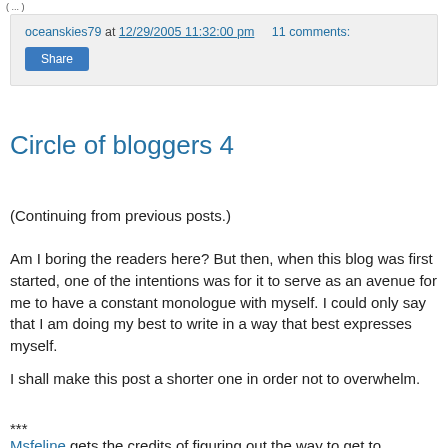( ... )
oceanskies79 at 12/29/2005 11:32:00 pm    11 comments:
Share
Circle of bloggers 4
(Continuing from previous posts.)
Am I boring the readers here? But then, when this blog was first started, one of the intentions was for it to serve as an avenue for me to have a constant monologue with myself. I could only say that I am doing my best to write in a way that best expresses myself.
I shall make this post a shorter one in order not to overwhelm.
***
Msfeline gets the credits of figuring out the way to get to